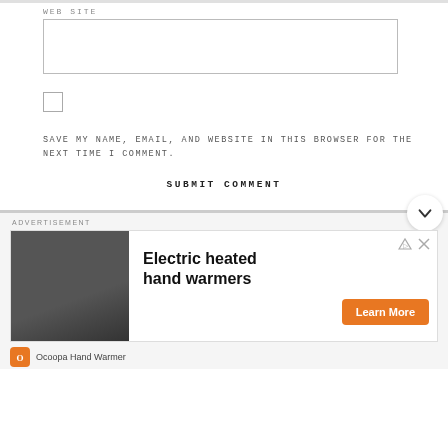WEB SITE
SAVE MY NAME, EMAIL, AND WEBSITE IN THIS BROWSER FOR THE NEXT TIME I COMMENT.
SUBMIT COMMENT
ADVERTISEMENT
[Figure (photo): Advertisement for Ocoopa Hand Warmer showing electric heated hand warmers product with a person holding it. Includes 'Learn More' orange button and Ocoopa brand logo.]